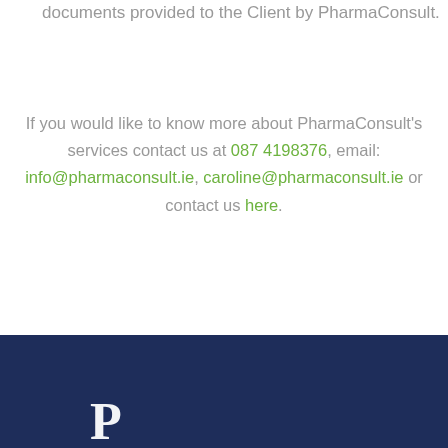documents provided to the Client by PharmaConsult.
If you would like to know more about PharmaConsult's services contact us at 087 4198376, email: info@pharmaconsult.ie, caroline@pharmaconsult.ie or contact us here.
[Figure (logo): Dark navy blue footer bar with a large white letter P (serif font) partially visible at bottom left]